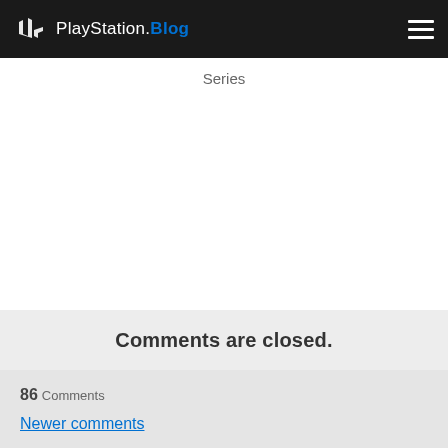PlayStation.Blog
Series
Comments are closed.
86 Comments
Newer comments